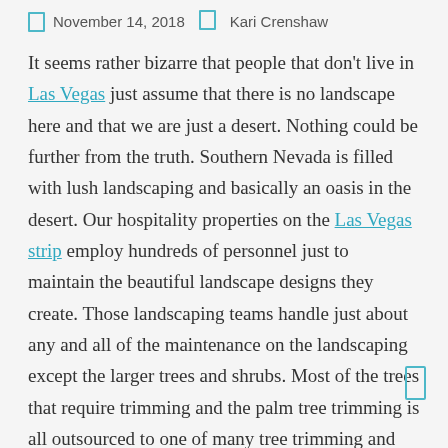November 14, 2018   Kari Crenshaw
It seems rather bizarre that people that don't live in Las Vegas just assume that there is no landscape here and that we are just a desert. Nothing could be further from the truth. Southern Nevada is filled with lush landscaping and basically an oasis in the desert. Our hospitality properties on the Las Vegas strip employ hundreds of personnel just to maintain the beautiful landscape designs they create. Those landscaping teams handle just about any and all of the maintenance on the landscaping except the larger trees and shrubs. Most of the trees that require trimming and the palm tree trimming is all outsourced to one of many tree trimming and maintenance companies.